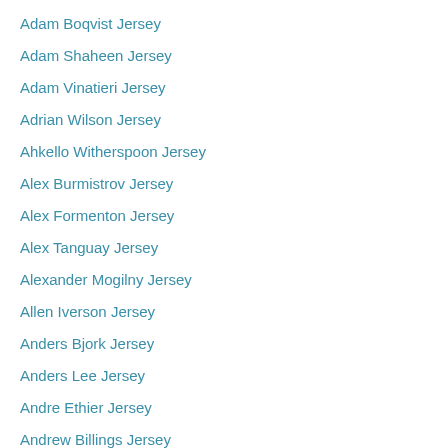Adam Boqvist Jersey
Adam Shaheen Jersey
Adam Vinatieri Jersey
Adrian Wilson Jersey
Ahkello Witherspoon Jersey
Alex Burmistrov Jersey
Alex Formenton Jersey
Alex Tanguay Jersey
Alexander Mogilny Jersey
Allen Iverson Jersey
Anders Bjork Jersey
Anders Lee Jersey
Andre Ethier Jersey
Andrew Billings Jersey
Andrew Whitworth Jersey